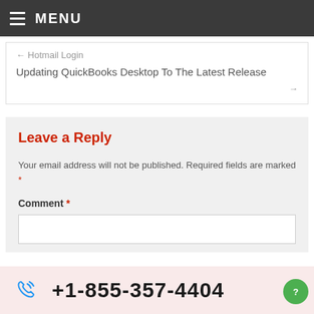≡ MENU
← Hotmail Login
Updating QuickBooks Desktop To The Latest Release →
Leave a Reply
Your email address will not be published. Required fields are marked *
Comment *
+1-855-357-4404